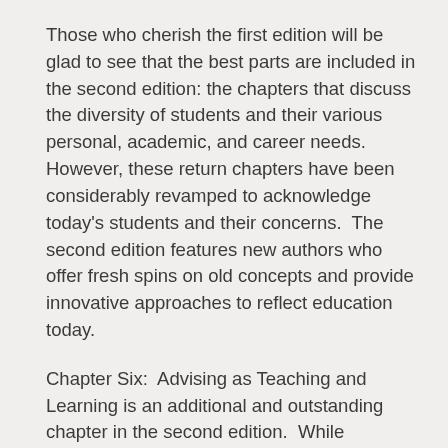Those who cherish the first edition will be glad to see that the best parts are included in the second edition: the chapters that discuss the diversity of students and their various personal, academic, and career needs. However, these return chapters have been considerably revamped to acknowledge today's students and their concerns.  The second edition features new authors who offer fresh spins on old concepts and provide innovative approaches to reflect education today.
Chapter Six:  Advising as Teaching and Learning is an additional and outstanding chapter in the second edition.  While conversations about advising as teaching and learning are not groundbreaking to advisors, dialogues are finally (as they ought to be) breaking out among other higher education employees.  In the first half of this chapter, Appleby boldly and successfully, through specific examples and prominent sources, compares skills, knowledge, and characteristics of effective teachers and advisors to exemplify the similarities between the two (pp. 97-89).  The second half of the chapter